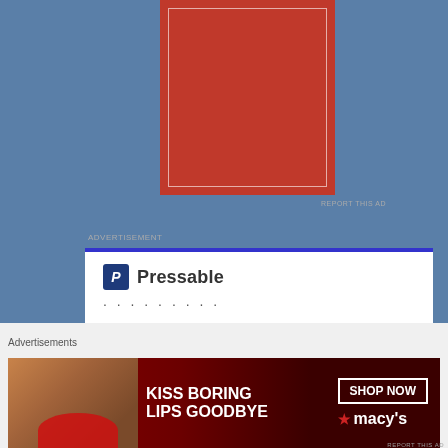[Figure (illustration): Red square advertisement on blue background with thin white inner border]
REPORT THIS AD
ADVERTISEMENT
[Figure (screenshot): Pressable advertisement with blue top border, Pressable logo with P icon, dots, and headline 'The Platform Where WordPress']
Advertisements
[Figure (photo): Macy's advertisement: 'KISS BORING LIPS GOODBYE' with woman's face and red lips, SHOP NOW button and Macy's star logo]